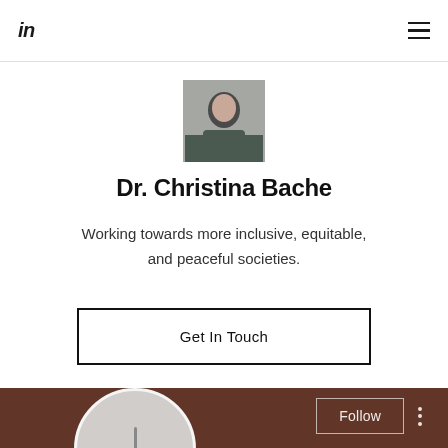in ☰
[Figure (photo): Profile photo of Dr. Christina Bache, a person in dark clothing against a light background]
Dr. Christina Bache
Working towards more inclusive, equitable, and peaceful societies.
Get In Touch
[Figure (screenshot): LinkedIn profile card section with brown/dark red background showing a Follow button, three-dot menu, and a circular profile avatar placeholder]